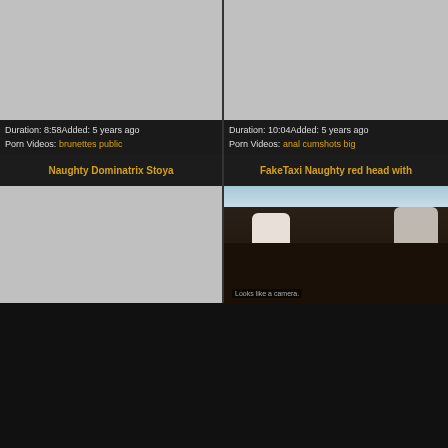[Figure (photo): Gray placeholder thumbnail, top-left video]
[Figure (photo): Gray placeholder thumbnail, top-right video]
Duration: 8:58Added: 5 years ago
Porn Videos: brunettes public
Duration: 10:04Added: 5 years ago
Porn Videos: anal cumshots big
Naughty Dominatrix Stoya
FakeTaxi Naughty red head with
[Figure (photo): Gray placeholder thumbnail, bottom-left video]
[Figure (photo): FakeTaxi scene: redhead woman in white top sitting in car backseat with male passenger, subtitle reads 'Looks like a camera.']